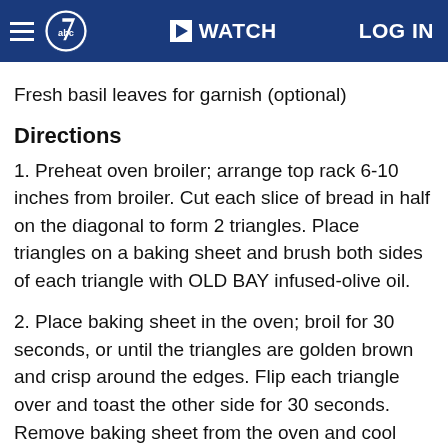abc7 | WATCH | LOG IN
Fresh basil leaves for garnish (optional)
Directions
1. Preheat oven broiler; arrange top rack 6-10 inches from broiler. Cut each slice of bread in half on the diagonal to form 2 triangles. Place triangles on a baking sheet and brush both sides of each triangle with OLD BAY infused-olive oil.
2. Place baking sheet in the oven; broil for 30 seconds, or until the triangles are golden brown and crisp around the edges. Flip each triangle over and toast the other side for 30 seconds. Remove baking sheet from the oven and cool bread.
2. Arrange triangles on a serving platter. Place one slice of smoked salmon on each bread triangle and then place one crab leg or spread one Tablespoon of lump of crabmeat on